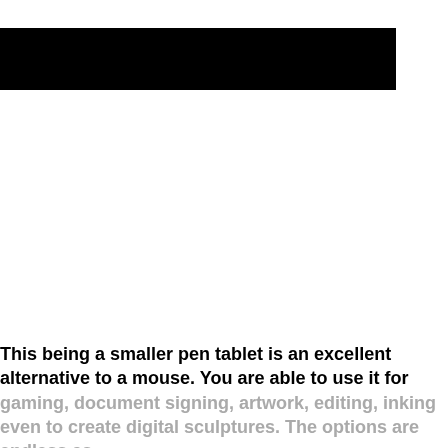[Figure (other): A large black rectangular redacted/blocked image area at the top of the page]
This being a smaller pen tablet is an excellent alternative to a mouse. You are able to use it for gaming, document signing, artwork, editing, inking even to create digital sculptures. The options are endless as